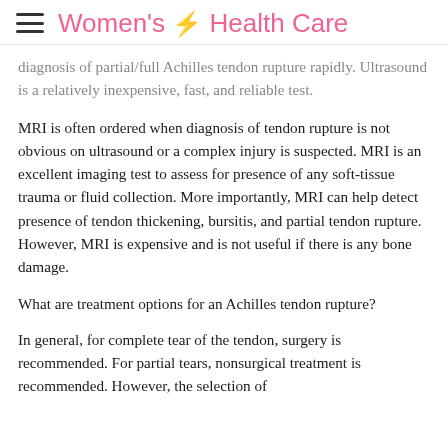Women's Health Care
diagnosis of partial/full Achilles tendon rupture rapidly. Ultrasound is a relatively inexpensive, fast, and reliable test.
MRI is often ordered when diagnosis of tendon rupture is not obvious on ultrasound or a complex injury is suspected. MRI is an excellent imaging test to assess for presence of any soft-tissue trauma or fluid collection. More importantly, MRI can help detect presence of tendon thickening, bursitis, and partial tendon rupture. However, MRI is expensive and is not useful if there is any bone damage.
What are treatment options for an Achilles tendon rupture?
In general, for complete tear of the tendon, surgery is recommended. For partial tears, nonsurgical treatment is recommended. However, the selection of